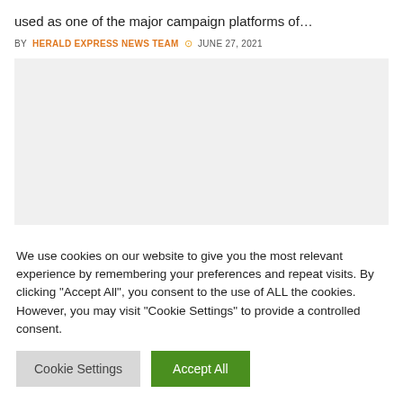used as one of the major campaign platforms of…
BY HERALD EXPRESS NEWS TEAM  JUNE 27, 2021
[Figure (other): Gray advertisement placeholder box]
We use cookies on our website to give you the most relevant experience by remembering your preferences and repeat visits. By clicking "Accept All", you consent to the use of ALL the cookies. However, you may visit "Cookie Settings" to provide a controlled consent.
Cookie Settings   Accept All